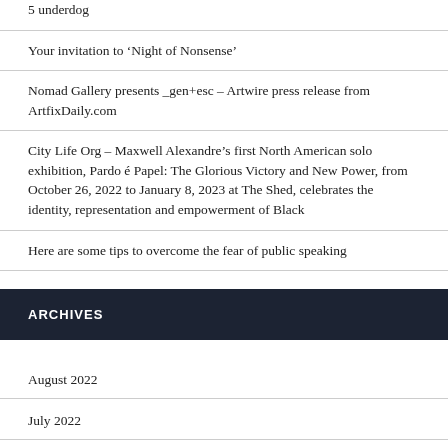5 underdog
Your invitation to ‘Night of Nonsense’
Nomad Gallery presents _gen+esc – Artwire press release from ArtfixDaily.com
City Life Org – Maxwell Alexandre’s first North American solo exhibition, Pardo é Papel: The Glorious Victory and New Power, from October 26, 2022 to January 8, 2023 at The Shed, celebrates the identity, representation and empowerment of Black
Here are some tips to overcome the fear of public speaking
ARCHIVES
August 2022
July 2022